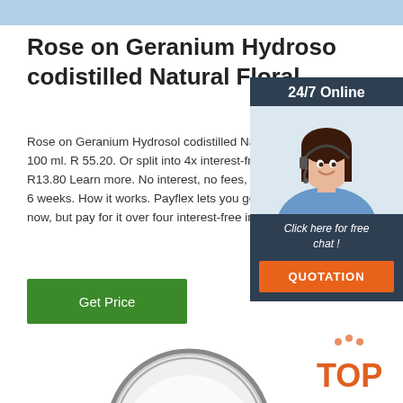Rose on Geranium Hydrosol codistilled Natural Floral
Rose on Geranium Hydrosol codistilled Natural Floral... 100 ml. R 55.20. Or split into 4x interest-free. pay R13.80 Learn more. No interest, no fees, 4x instal... 6 weeks. How it works. Payflex lets you get what... now, but pay for it over four interest-free instalme...
[Figure (other): Green 'Get Price' button]
[Figure (other): 24/7 Online chat widget with female customer service agent wearing headset, 'Click here for free chat!' text, and orange QUOTATION button]
[Figure (photo): Partial view of a round product container with white powder, shown from above]
[Figure (logo): Orange TOP logo with dots above the letters]